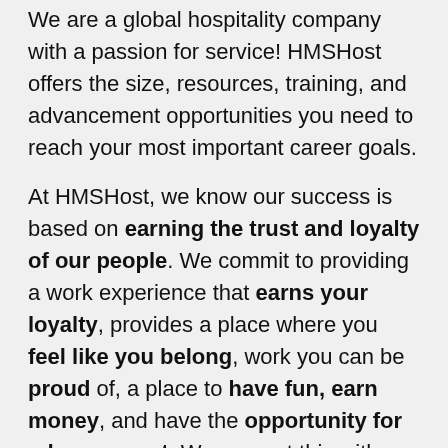We are a global hospitality company with a passion for service! HMSHost offers the size, resources, training, and advancement opportunities you need to reach your most important career goals.
At HMSHost, we know our success is based on earning the trust and loyalty of our people. We commit to providing a work experience that earns your loyalty, provides a place where you feel like you belong, work you can be proud of, a place to have fun, earn money, and have the opportunity for advancement. We support this with competitive wages, robust benefits and recognition for a job well done.
Working for HMSHost is more than serving food & beverage, it's like being an ambassador for the city you live in – as we put it – helping travelers feel good on the move!